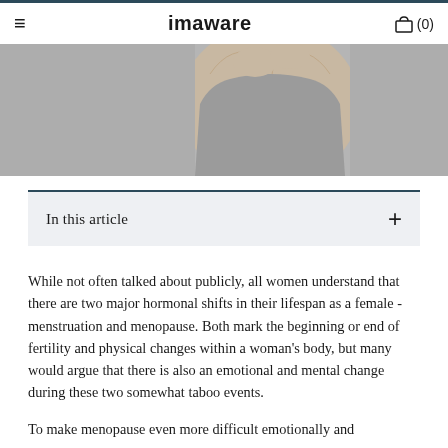≡   imaware   🛒 (0)
[Figure (photo): Partial view of a person in a gray t-shirt with hands raised near their face, gray background]
In this article  +
While not often talked about publicly, all women understand that there are two major hormonal shifts in their lifespan as a female - menstruation and menopause. Both mark the beginning or end of fertility and physical changes within a woman's body, but many would argue that there is also an emotional and mental change during these two somewhat taboo events.
To make menopause even more difficult emotionally and